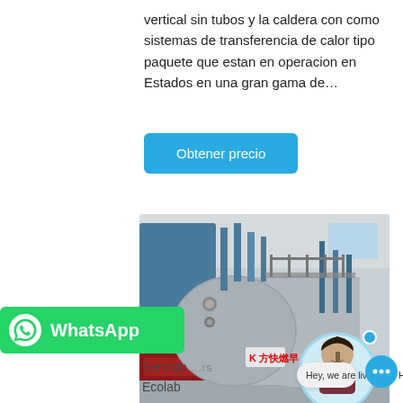vertical sin tubos y la caldera con como sistemas de transferencia de calor tipo paquete que estan en operacion en Estados en una gran gama de...
Obtener precio
[Figure (photo): Industrial horizontal fire-tube boiler/package boiler in a facility, with blue vertical unit on left and cylindrical boiler body, branded with K logo (Fangkuai). A chat avatar of a smiling young woman in a circular frame overlays the bottom-right of the image.]
[Figure (photo): WhatsApp chat widget bar with green background, WhatsApp logo, and 'WhatsApp' text in white.]
Hey, we are live 24/7. How may I help you?
Servicio
Ecolab